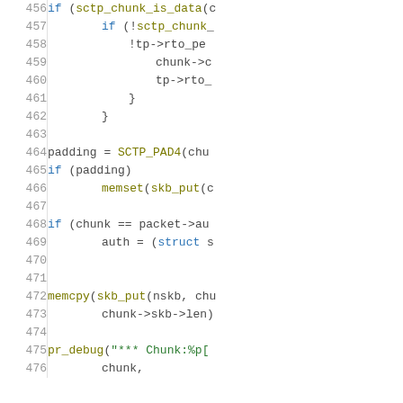Source code listing, lines 456-476, showing C kernel networking code (sctp_chunk processing)